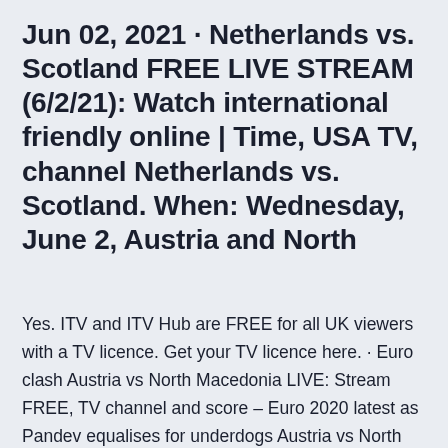Jun 02, 2021 · Netherlands vs. Scotland FREE LIVE STREAM (6/2/21): Watch international friendly online | Time, USA TV, channel Netherlands vs. Scotland. When: Wednesday, June 2, Austria and North
Yes. ITV and ITV Hub are FREE for all UK viewers with a TV licence. Get your TV licence here. · Euro clash Austria vs North Macedonia LIVE: Stream FREE, TV channel and score – Euro 2020 latest as Pandev equalises for underdogs Austria vs North Macedonia: TV channel, live stream, team news & prediction. · With